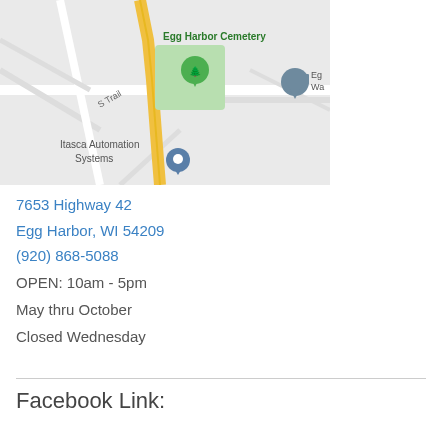[Figure (map): Google Maps screenshot showing Egg Harbor Cemetery with a green tree marker, Itasca Automation Systems with a blue location pin, S Trail road, and a yellow highway running through the area. Partially visible 'Eg Wa' location marker on the right side.]
7653 Highway 42
Egg Harbor, WI 54209
(920) 868-5088
OPEN: 10am - 5pm
May thru October
Closed Wednesday
Facebook Link: